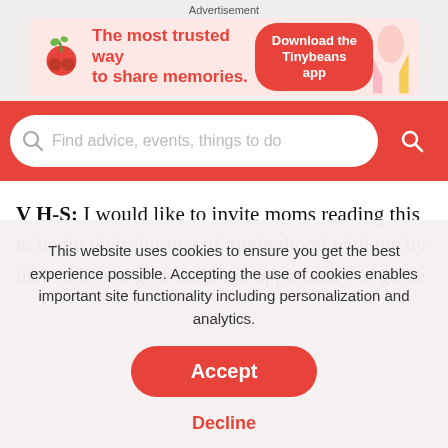Advertisement
[Figure (other): Tinybeans advertisement banner: cherry/seedling icon, text 'The most trusted way to share memories.' and red pill button 'Download the Tinybeans app']
[Figure (other): Red search bar with placeholder text 'Find advice, events, things to do' and red circular search button]
V H-S: I would like to invite moms reading this to begin their journey of motherhood with me by their side and give them the opportunity to guide them through the most wonderful chapter of their life. I will ensure that you as a mother will
This website uses cookies to ensure you get the best experience possible. Accepting the use of cookies enables important site functionality including personalization and analytics.
Accept
Decline